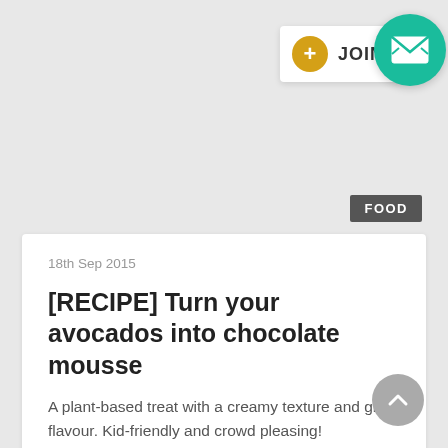[Figure (screenshot): UI top bar with a gold circle plus button, JOIN text, and a teal circular email/envelope icon button]
FOOD
18th Sep 2015
[RECIPE] Turn your avocados into chocolate mousse
A plant-based treat with a creamy texture and great flavour. Kid-friendly and crowd pleasing!
[Figure (illustration): Gray circular back-to-top chevron button]